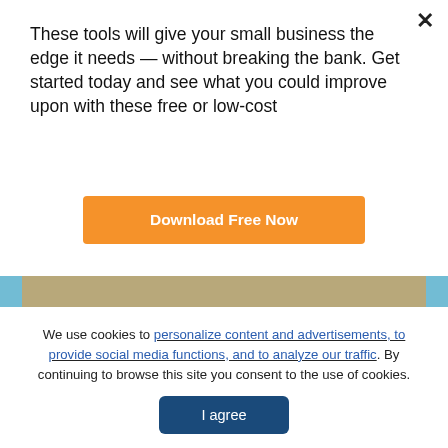These tools will give your small business the edge it needs — without breaking the bank. Get started today and see what you could improve upon with these free or low-cost
Download Free Now
[Figure (photo): Real estate for sale sign with bushes and trees in background, sepia/green toned photo]
We use cookies to personalize content and advertisements, to provide social media functions, and to analyze our traffic. By continuing to browse this site you consent to the use of cookies.
I agree